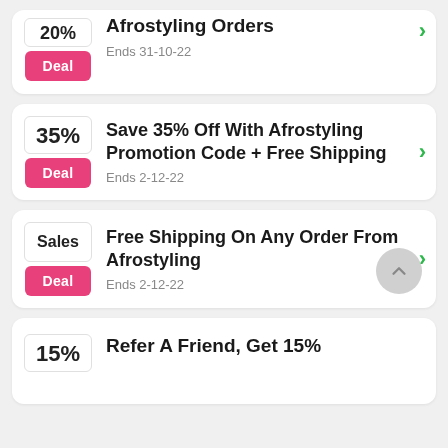[Figure (screenshot): Partial deal card showing 20% badge and 'Afrostyling Orders' with 'Ends 31-10-22']
Save 35% Off With Afrostyling Promotion Code + Free Shipping
Ends 2-12-22
Free Shipping On Any Order From Afrostyling
Ends 2-12-22
Refer A Friend, Get 15%